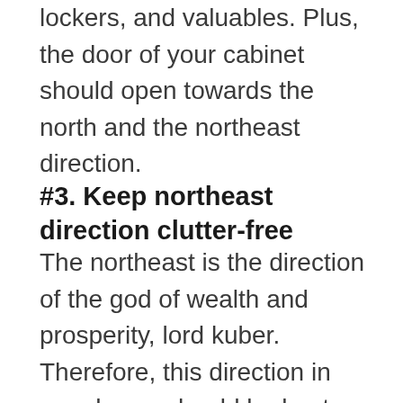lockers, and valuables. Plus, the door of your cabinet should open towards the north and the northeast direction.
#3. Keep northeast direction clutter-free
The northeast is the direction of the god of wealth and prosperity, lord kuber. Therefore, this direction in your home should be kept clean and clutter-free. There should be no heavy furniture, drains, or toilets as they could obstruct the positive energy. The space along the northeast direction should always be open and spacious so that it enables the flow of